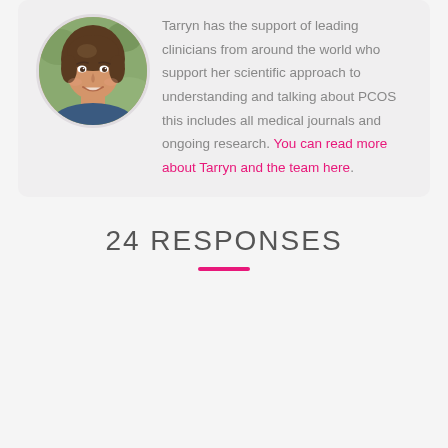[Figure (photo): Circular portrait photo of a smiling woman with brown hair, wearing a blue top, set against a blurred outdoor background.]
Tarryn has the support of leading clinicians from around the world who support her scientific approach to understanding and talking about PCOS this includes all medical journals and ongoing research. You can read more about Tarryn and the team here.
24 RESPONSES